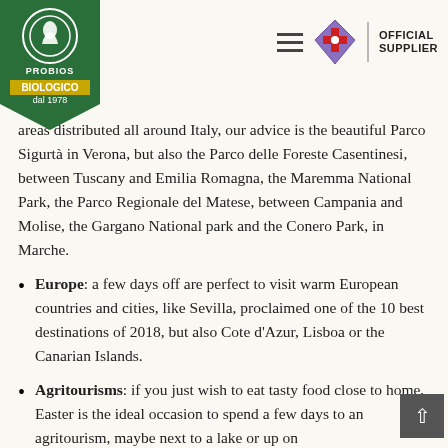[Figure (logo): Probios Biologico dal 1978 green logo banner on left, hamburger menu icon and Fiorentina crest with OFFICIAL SUPPLIER text on right]
areas distributed all around Italy, our advice is the beautiful Parco Sigurtà in Verona, but also the Parco delle Foreste Casentinesi, between Tuscany and Emilia Romagna, the Maremma National Park, the Parco Regionale del Matese, between Campania and Molise, the Gargano National park and the Conero Park, in Marche.
Europe: a few days off are perfect to visit warm European countries and cities, like Sevilla, proclaimed one of the 10 best destinations of 2018, but also Cote d'Azur, Lisboa or the Canarian Islands.
Agritourisms: if you just wish to eat tasty food close to home, Easter is the ideal occasion to spend a few days to an agritourism, maybe next to a lake or up on